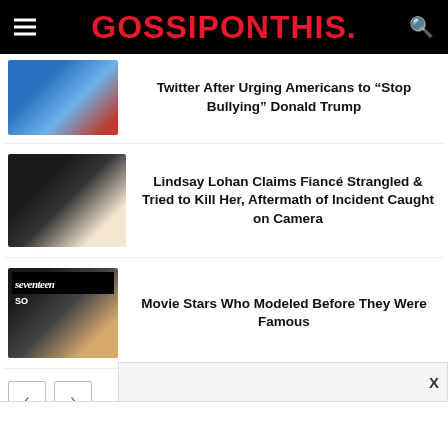GOSSIPONTHIS.
Twitter After Urging Americans to “Stop Bullying” Donald Trump
Lindsay Lohan Claims Fiancé Strangled & Tried to Kill Her, Aftermath of Incident Caught on Camera
Movie Stars Who Modeled Before They Were Famous